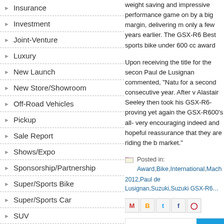Insurance
Investment
Joint-Venture
Luxury
New Launch
New Store/Showroom
Off-Road Vehicles
Pickup
Sale Report
Shows/Expo
Sponsorship/Partnership
Super/Sports Bike
Super/Sports Car
SUV
Truck
Van
weight saving and impressive perfor... game on by a big margin, delivering ... only a few years earlier. The GSX-R6... Best sports bike under 600 cc award...
Upon receiving the title for the secon... Paul de Lusignan commented, "Natu... for a second consecutive year. After v... Alastair Seeley then took his GSX-R6... proving yet again the GSX-R600's all-... very encouraging indeed and hopeful... reassurance that they are riding the b... market."
Posted in: Award,Bike,International,Mach... 2012,Paul de Lusignan,Suzuki,Suzuki GSX-R6...
Newer Post